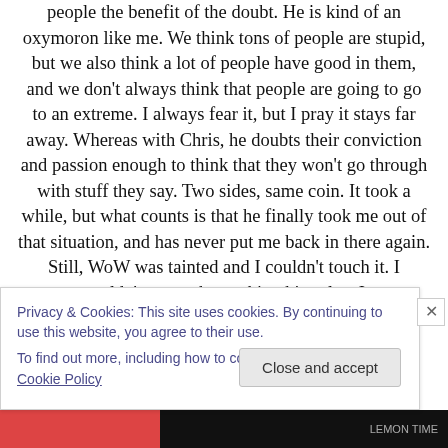people the benefit of the doubt. He is kind of an oxymoron like me. We think tons of people are stupid, but we also think a lot of people have good in them, and we don't always think that people are going to go to an extreme. I always fear it, but I pray it stays far away. Whereas with Chris, he doubts their conviction and passion enough to think that they won't go through with stuff they say. Two sides, same coin. It took a while, but what counts is that he finally took me out of that situation, and has never put me back in there again. Still, WoW was tainted and I couldn't touch it. I couldn't stomach watching him play. I
Privacy & Cookies: This site uses cookies. By continuing to use this website, you agree to their use.
To find out more, including how to control cookies, see here: Cookie Policy
Close and accept